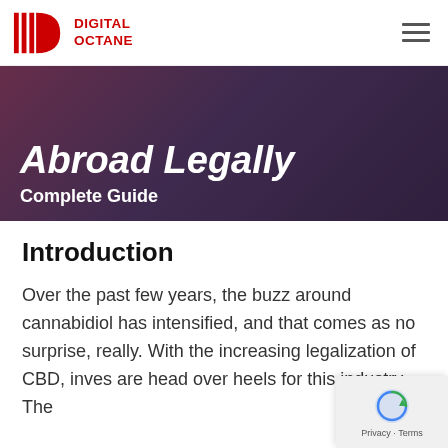[Figure (logo): Digital Octane logo — red vertical bars and D-shape icon with red text reading DIGITAL OCTANE]
[Figure (photo): Hero banner image with dark purple/blue overlay showing text 'Abroad Legally' in large italic bold white font and 'Complete Guide' in bold white below it]
Introduction
Over the past few years, the buzz around cannabidiol has intensified, and that comes as no surprise, really. With the increasing legalization of CBD, inves are head over heels for this industry. The